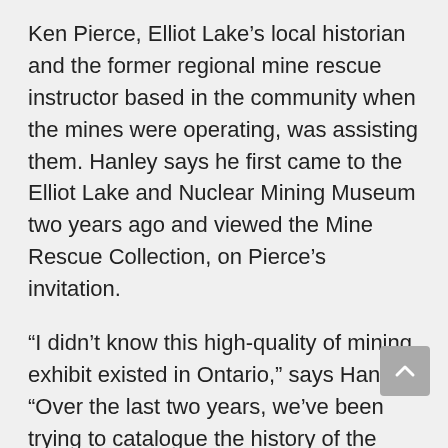Ken Pierce, Elliot Lake's local historian and the former regional mine rescue instructor based in the community when the mines were operating, was assisting them. Hanley says he first came to the Elliot Lake and Nuclear Mining Museum two years ago and viewed the Mine Rescue Collection, on Pierce's invitation.
“I didn’t know this high-quality of mining exhibit existed in Ontario,” says Hanley. “Over the last two years, we’ve been trying to catalogue the history of the Ontario Mine Rescue program, which goes back to 1929.
“An important part of that history is the Elliot Lake component. Most of that